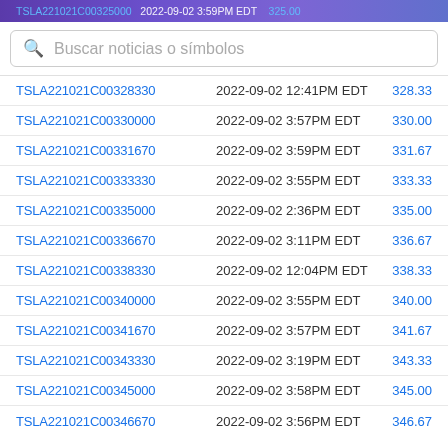TSLA221021C00325000   2022-09-02 3:59PM EDT   325.00
Buscar noticias o símbolos
TSLA221021C00328330   2022-09-02 12:41PM EDT   328.33
TSLA221021C00330000   2022-09-02 3:57PM EDT   330.00
TSLA221021C00331670   2022-09-02 3:59PM EDT   331.67
TSLA221021C00333330   2022-09-02 3:55PM EDT   333.33
TSLA221021C00335000   2022-09-02 2:36PM EDT   335.00
TSLA221021C00336670   2022-09-02 3:11PM EDT   336.67
TSLA221021C00338330   2022-09-02 12:04PM EDT   338.33
TSLA221021C00340000   2022-09-02 3:55PM EDT   340.00
TSLA221021C00341670   2022-09-02 3:57PM EDT   341.67
TSLA221021C00343330   2022-09-02 3:19PM EDT   343.33
TSLA221021C00345000   2022-09-02 3:58PM EDT   345.00
TSLA221021C00346670   2022-09-02 3:56PM EDT   346.67